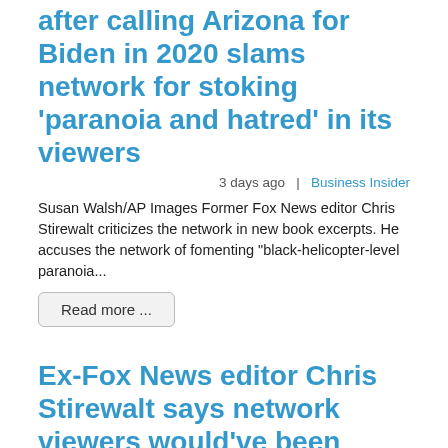after calling Arizona for Biden in 2020 slams network for stoking 'paranoia and hatred' in its viewers
3 days ago  |  Business Insider
Susan Walsh/AP Images Former Fox News editor Chris Stirewalt criticizes the network in new book excerpts. He accuses the network of fomenting "black-helicopter-level paranoia...
Read more ...
Ex-Fox News editor Chris Stirewalt says network viewers would've been more prepared for a Trump loss in 2020 if they'd been given 'a more accurate' view of the race: book
3 days ago  |  Business Insider
Former Fox News political editor Chris Stirewalt appears before the House January 6 committee on June 13. AP Photo/Susan Walsh